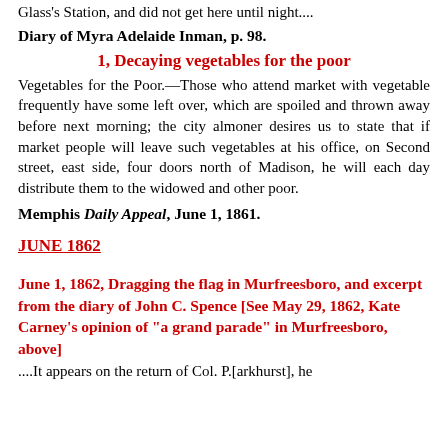Glass's Station, and did not get here until night....
Diary of Myra Adelaide Inman, p. 98.
1, Decaying vegetables for the poor
Vegetables for the Poor.—Those who attend market with vegetable frequently have some left over, which are spoiled and thrown away before next morning; the city almoner desires us to state that if market people will leave such vegetables at his office, on Second street, east side, four doors north of Madison, he will each day distribute them to the widowed and other poor.
Memphis Daily Appeal, June 1, 1861.
JUNE 1862
June 1, 1862, Dragging the flag in Murfreesboro, and excerpt from the diary of John C. Spence [See May 29, 1862, Kate Carney's opinion of "a grand parade" in Murfreesboro, above]
....It appears on the return of Col. P.[arkhurst], he